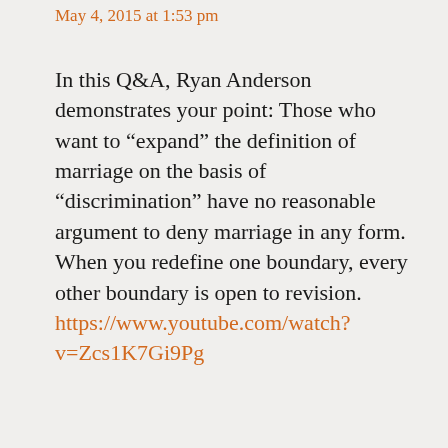May 4, 2015 at 1:53 pm
In this Q&A, Ryan Anderson demonstrates your point: Those who want to “expand” the definition of marriage on the basis of “discrimination” have no reasonable argument to deny marriage in any form. When you redefine one boundary, every other boundary is open to revision. https://www.youtube.com/watch?v=Zcs1K7Gi9Pg